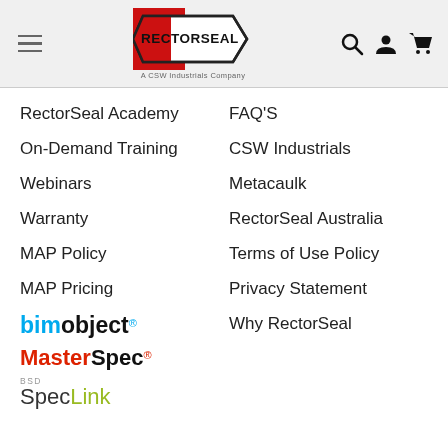[Figure (logo): RectorSeal logo with red background and hexagonal border, tagline 'A CSW Industrials Company', navigation header with hamburger menu, search icon, user icon, cart icon]
RectorSeal Academy
On-Demand Training
Webinars
Warranty
MAP Policy
MAP Pricing
[Figure (logo): BIMobject logo in blue and black text]
[Figure (logo): MasterSpec logo in red and black text]
[Figure (logo): BSD SpecLink logo in gray and green text]
FAQ'S
CSW Industrials
Metacaulk
RectorSeal Australia
Terms of Use Policy
Privacy Statement
Why RectorSeal